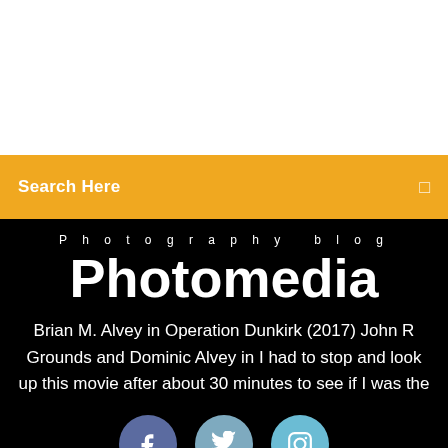[Figure (other): White area at top of page, likely an image placeholder]
Search Here
Photomedia
Photography blog
Brian M. Alvey in Operation Dunkirk (2017) John R Grounds and Dominic Alvey in I had to stop and look up this movie after about 30 minutes to see if I was the
[Figure (other): Social media icons: Facebook, Twitter, Instagram]